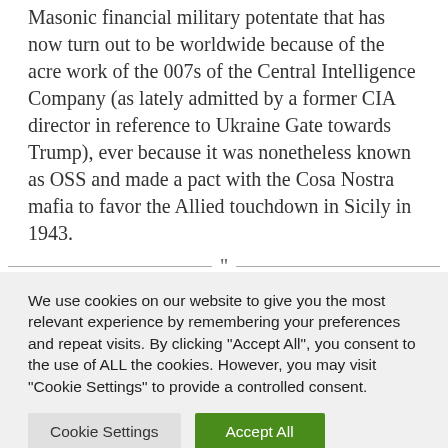Masonic financial military potentate that has now turn out to be worldwide because of the acre work of the 007s of the Central Intelligence Company (as lately admitted by a former CIA director in reference to Ukraine Gate towards Trump), ever because it was nonetheless known as OSS and made a pact with the Cosa Nostra mafia to favor the Allied touchdown in Sicily in 1943.
We use cookies on our website to give you the most relevant experience by remembering your preferences and repeat visits. By clicking "Accept All", you consent to the use of ALL the cookies. However, you may visit "Cookie Settings" to provide a controlled consent.